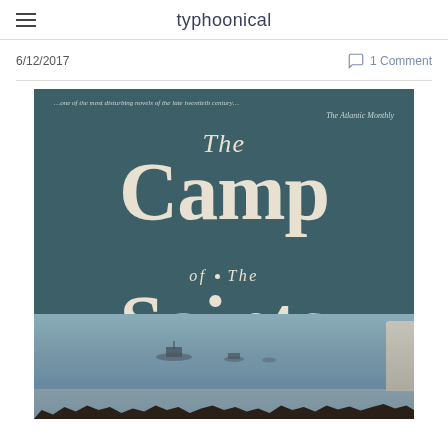typhoonical
6/12/2017
1 Comment
[Figure (photo): Book cover of 'The Camp of the Saints' — dark teal/green background with large white serif text. A quote from The Atlantic Monthly appears at top. Bottom portion shows a black-and-white beach scene with a crowd of people, ships in the water, and a shoreline.]